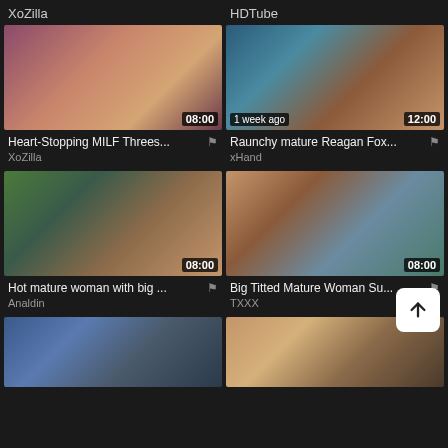XoZilla
HDTube
[Figure (photo): Video thumbnail - Heart-Stopping MILF Threes... duration 08:00]
[Figure (photo): Video thumbnail - Raunchy mature Reagan Fox... 1 week ago, duration 12:00]
Heart-Stopping MILF Threes...
Raunchy mature Reagan Fox...
XoZilla
xHand
[Figure (photo): Video thumbnail - Hot mature woman with big ... duration 08:00]
[Figure (photo): Video thumbnail - Big Titted Mature Woman Su... duration 08:00]
Hot mature woman with big ...
Big Titted Mature Woman Su...
Analdin
TXXX
[Figure (photo): Partial video thumbnail (bottom row left)]
[Figure (photo): Partial video thumbnail (bottom row right)]